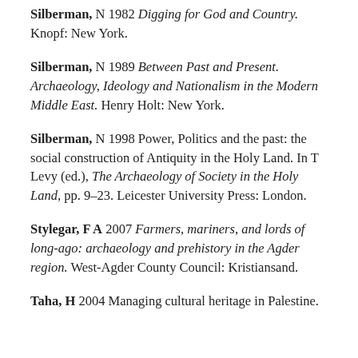Silberman, N 1982 Digging for God and Country. Knopf: New York.
Silberman, N 1989 Between Past and Present. Archaeology, Ideology and Nationalism in the Modern Middle East. Henry Holt: New York.
Silberman, N 1998 Power, Politics and the past: the social construction of Antiquity in the Holy Land. In T Levy (ed.), The Archaeology of Society in the Holy Land, pp. 9–23. Leicester University Press: London.
Stylegar, F A 2007 Farmers, mariners, and lords of long-ago: archaeology and prehistory in the Agder region. West-Agder County Council: Kristiansand.
Taha, H 2004 Managing cultural heritage in Palestine.